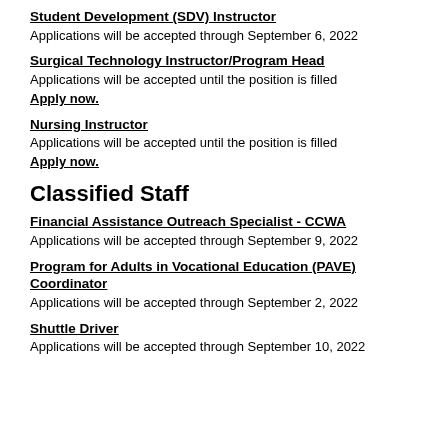Student Development (SDV) Instructor
Applications will be accepted through September 6, 2022
Surgical Technology Instructor/Program Head
Applications will be accepted until the position is filled
Apply now.
Nursing Instructor
Applications will be accepted until the position is filled
Apply now.
Classified Staff
Financial Assistance Outreach Specialist - CCWA
Applications will be accepted through September 9, 2022
Program for Adults in Vocational Education (PAVE) Coordinator
Applications will be accepted through September 2, 2022
Shuttle Driver
Applications will be accepted through September 10, 2022